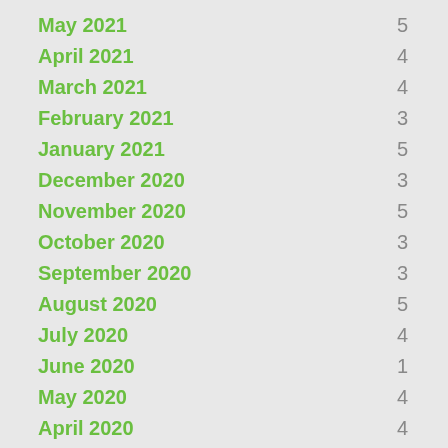May 2021  5
April 2021  4
March 2021  4
February 2021  3
January 2021  5
December 2020  3
November 2020  5
October 2020  3
September 2020  3
August 2020  5
July 2020  4
June 2020  1
May 2020  4
April 2020  4
March 2020  3